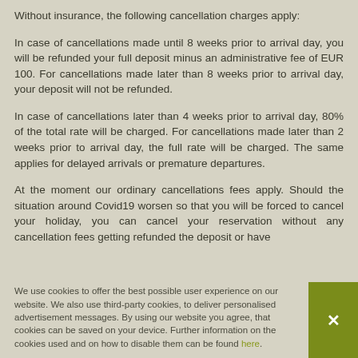Without insurance, the following cancellation charges apply:
In case of cancellations made until 8 weeks prior to arrival day, you will be refunded your full deposit minus an administrative fee of EUR 100. For cancellations made later than 8 weeks prior to arrival day, your deposit will not be refunded.
In case of cancellations later than 4 weeks prior to arrival day, 80% of the total rate will be charged. For cancellations made later than 2 weeks prior to arrival day, the full rate will be charged. The same applies for delayed arrivals or premature departures.
At the moment our ordinary cancellations fees apply. Should the situation around Covid19 worsen so that you will be forced to cancel your holiday, you can cancel your reservation without any cancellation fees getting refunded the deposit or have
We use cookies to offer the best possible user experience on our website. We also use third-party cookies, to deliver personalised advertisement messages. By using our website you agree, that cookies can be saved on your device. Further information on the cookies used and on how to disable them can be found here.